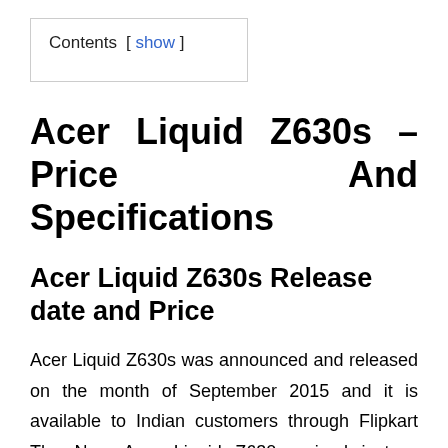Contents [ show ]
Acer Liquid Z630s – Price And Specifications
Acer Liquid Z630s Release date and Price
Acer Liquid Z630s was announced and released on the month of September 2015 and it is available to Indian customers through Flipkart The New Acer Liquid Z630s priced just rs 10,999 in India.